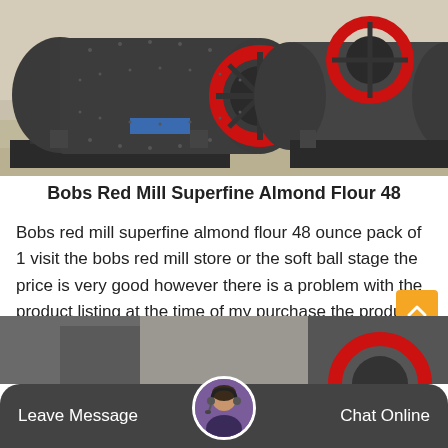[Figure (photo): Industrial ball mill machines in a factory/warehouse setting. Large cylindrical grinding machines with red gear rings, dark grey/black bodies, mounted on black bases on a concrete floor.]
Bobs Red Mill Superfine Almond Flour 48
Bobs red mill superfine almond flour 48 ounce pack of 1 visit the bobs red mill store or the soft ball stage the price is very good however there is a problem with the product listing at the time of my purchase the product listings photo shows a 1lb bag.
[Figure (photo): Partial view of industrial machinery at the bottom of the page, partially obscured by the chat bar overlay.]
Leave Message
Chat Online